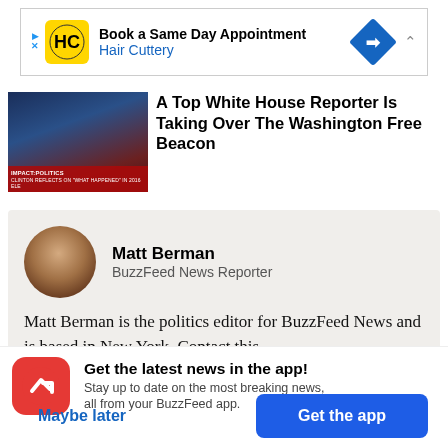[Figure (screenshot): Hair Cuttery advertisement banner with logo and 'Book a Same Day Appointment' text]
[Figure (photo): Thumbnail image of a TV news segment with a woman on screen and lower-third text reading 'CLINTON REFLECTS ON WHAT HAPPENED IN 2016 ELE']
A Top White House Reporter Is Taking Over The Washington Free Beacon
[Figure (photo): Circular author profile photo of Matt Berman]
Matt Berman
BuzzFeed News Reporter
Matt Berman is the politics editor for BuzzFeed News and is based in New York. Contact this
[Figure (logo): BuzzFeed app icon — red circle with white arrow logo]
Get the latest news in the app!
Stay up to date on the most breaking news, all from your BuzzFeed app.
Maybe later
Get the app